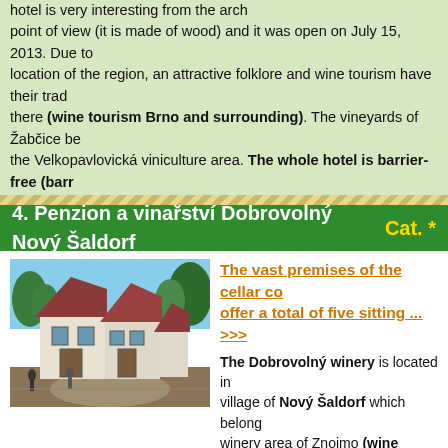hotel is very interesting from the architectural point of view (it is made of wood) and it was open on July 15, 2013. Due to the location of the region, an attractive folklore and wine tourism have their traditions there (wine tourism Brno and surrounding). The vineyards of Žabčice belong to the Velkopavlovická viniculture area. The whole hotel is barrier-free (barrier-free accommodation Brno and surrounding).
4. Penzion a vinařství Dobrovolný Nový Šaldorf    Cat. *
[Figure (photo): Exterior photo of Penzion a vinařství Dobrovolný Nový Šaldorf — white buildings with red roofs surrounded by trees and a courtyard]
The vast premises of the cellar complex offer a total of five sitting ... >>>
The Dobrovolný winery is located in the village of Nový Šaldorf which belongs to the winery area of Znojmo (wine cellars — village where you can find more than cellars is situated near the royal town of Znojmo and a National park Podyjí (wine tourism the Znojmo area). The Dobrovolný winery disposes of a large complex of cellar lines carved in the sandstone. The cellar is a part of the Brno cellars complex in Nový Šaldorf and it´s unique because of the fact that it´s carved in the sandstone in the gothic style, while the rest of the cellars are of a Roman style (wine cellar in the Znojmo area). Today´s functional appearance of the